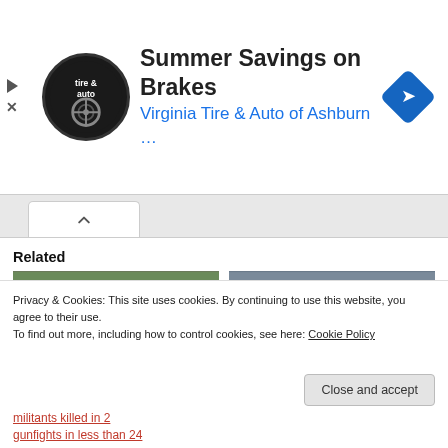[Figure (infographic): Advertisement banner: Virginia Tire & Auto of Ashburn brakes summer savings ad with logo and navigation icon]
Related
[Figure (photo): Soldiers/militants walking in military gear - related to Kupwara gunfight article]
2 more militants killed in overnight Kupwara gunfight, another slain in Pulwama
[Figure (photo): Soldiers/militants in military gear near vehicles - related to south Kashmir gunfight article]
Two militants killed in 2 gunfights in south Kashmir: Police
Privacy & Cookies: This site uses cookies. By continuing to use this website, you agree to their use.
To find out more, including how to control cookies, see here: Cookie Policy
Close and accept
militants killed in 2 gunfights in less than 24